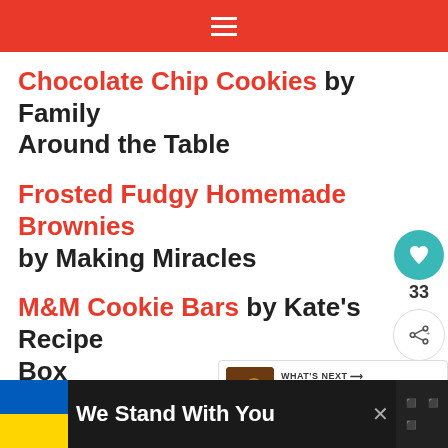≡ (hamburger menu)
Chocolate Chip Cookies by Family Around the Table
Frosted Fudgy Homemade Brownies by Making Miracles
M&M Cookie Bars by Kate's Recipe Box
Monkey Tail Crescent Rolls by Palatable Pastime
[Figure (infographic): Floating social interaction buttons: heart icon (teal circle) with count 33 below, and share icon (white circle with border)]
[Figure (infographic): What's Next panel showing a thumbnail image of caramel corn caramels with label 'WHAT'S NEXT →' and title 'Caramel Corn Caramels']
[Figure (infographic): Bottom ad banner with blue/yellow Ukraine flag, text 'We Stand With You', close button X, and media player logo]